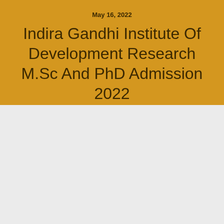May 16, 2022
Indira Gandhi Institute Of Development Research M.Sc And PhD Admission 2022